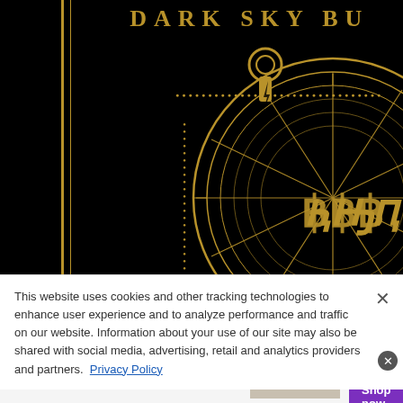[Figure (illustration): Book cover with black background and gold decorative design. Shows partial text 'DARK SKY BU' at top, with an elaborate gold roulette wheel or clock-like circular ornament featuring ornate gothic lettering in the center. Left edge shows a dark spine with gold vertical lines.]
This website uses cookies and other tracking technologies to enhance user experience and to analyze performance and traffic on our website. Information about your use of our site may also be shared with social media, advertising, retail and analytics providers and partners.  Privacy Policy
[Figure (infographic): Wayfair advertisement banner. Shows Wayfair logo (star + 'wayfair'), text 'Top Appliances Low Prices', image of a stove/range appliance, and text 'Save on best selling brands that live up to the hype' with a purple 'Shop now' button.]